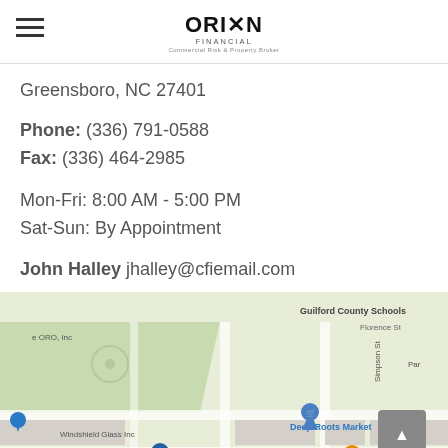ORION FINANCIAL
Greensboro, NC 27401
Phone: (336) 791-0588
Fax: (336) 464-2985
Mon-Fri: 8:00 AM - 5:00 PM
Sat-Sun: By Appointment
John Halley jhalley@cfiemail.com
[Figure (map): Google Maps view showing the area around Greensboro, NC 27401 with landmarks including Guilford County Schools, Deep Roots Market, Windshield Glass Inc, Joymongers Brewing Co, and Luxe Soulfood visible.]